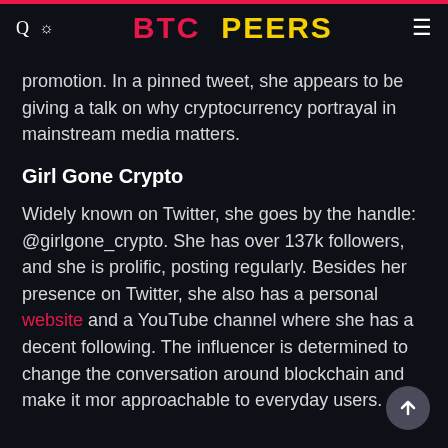BTC PEERS
promotion. In a pinned tweet, she appears to be giving a talk on why cryptocurrency portrayal in mainstream media matters.
Girl Gone Crypto
Widely known on Twitter, she goes by the handle: @girlgone_crypto. She has over 137k followers, and she is prolific, posting regularly. Besides her presence on Twitter, she also has a personal website and a YouTube channel where she has a decent following. The influencer is determined to change the conversation around blockchain and make it mor approachable to everyday users.